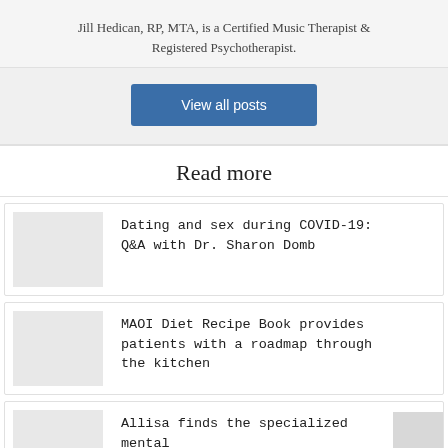Jill Hedican, RP, MTA, is a Certified Music Therapist & Registered Psychotherapist.
View all posts
Read more
Dating and sex during COVID-19: Q&A with Dr. Sharon Domb
MAOI Diet Recipe Book provides patients with a roadmap through the kitchen
Allisa finds the specialized mental health care she needs